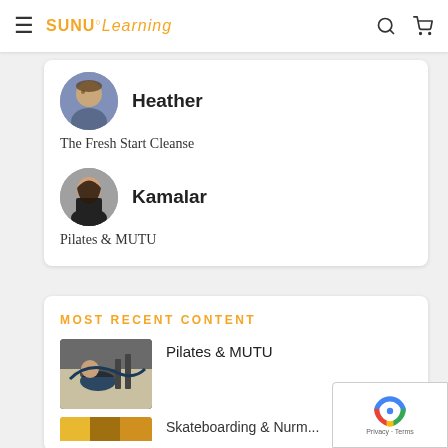SUNU° Learning
[Figure (photo): Circular avatar of Heather, a woman with glasses holding a dog]
Heather
The Fresh Start Cleanse
[Figure (photo): Circular avatar of Kamalar, a woman with dark hair]
Kamalar
Pilates & MUTU
MOST RECENT CONTENT
[Figure (photo): Thumbnail image of a woman doing a pilates or MUTU exercise on the floor]
Pilates & MUTU
[Figure (photo): Thumbnail image partially visible at bottom of page]